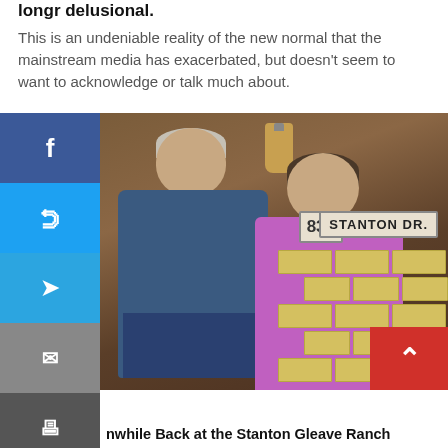longr delusional.
This is an undeniable reality of the new normal that the mainstream media has exacerbated, but doesn't seem to want to acknowledge or talk much about.
[Figure (photo): A man and a woman standing together in front of a wooden building with a street sign reading 'STANTON DR.' and address number '834'. Brick wall visible at lower right. Social media share buttons visible on the left sidebar.]
nwhile Back at the Stanton Gleave Ranch